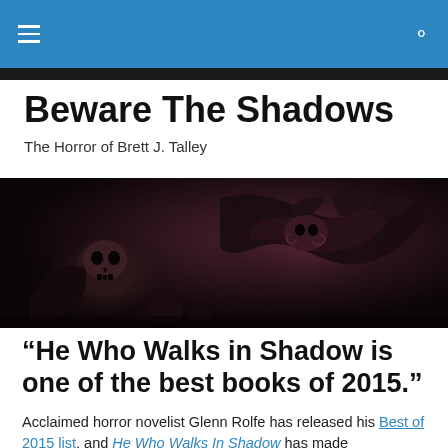≡  🔍
Beware The Shadows
The Horror of Brett J. Talley
[Figure (illustration): Dark fantasy horror illustration showing shadowy demonic creatures with a skull, twisted wings, and tentacle-like forms against a dark reddish-brown background.]
"He Who Walks in Shadow is one of the best books of 2015."
Acclaimed horror novelist Glenn Rolfe has released his Best of 2015 list, and He Who Walks In Shadow has made